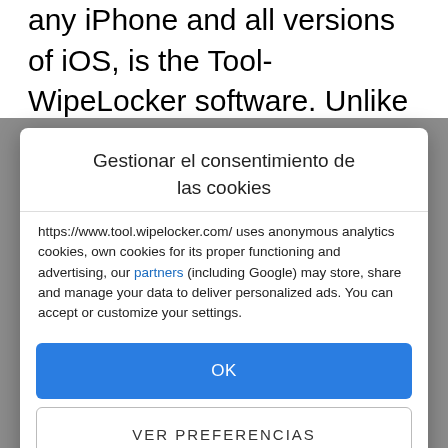any iPhone and all versions of iOS, is the Tool-WipeLocker software. Unlike XTools this program is much easier to use, and you can install it on Windows, Mac and in the same way on Linux.
Gestionar el consentimiento de las cookies
https://www.tool.wipelocker.com/ uses anonymous analytics cookies, own cookies for its proper functioning and advertising, our partners (including Google) may store, share and manage your data to deliver personalized ads. You can accept or customize your settings.
OK
VER PREFERENCIAS
Política de cookies   Declaración de privacidad   Impressum